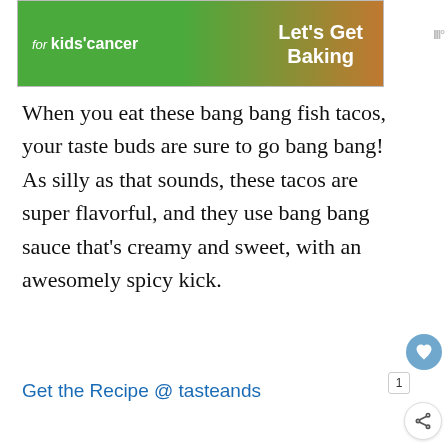[Figure (screenshot): Top advertisement banner: green background on left with 'for kids' cancer' text and cookie/baking imagery on right with 'Let's Get Baking' text in white]
When you eat these bang bang fish tacos, your taste buds are sure to go bang bang! As silly as that sounds, these tacos are super flavorful, and they use bang bang sauce that's creamy and sweet, with an awesomely spicy kick.
Get the Recipe @ tasteands
21. Mini Fish Tacos
[Figure (photo): Partial photo of Mini Fish Tacos, bottom of page]
[Figure (screenshot): Bottom advertisement: The Perfect Family Activity - Topgolf]